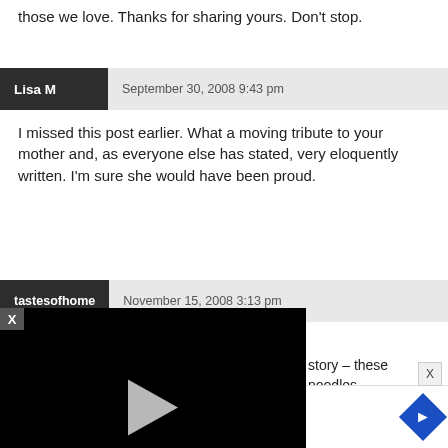those we love. Thanks for sharing yours. Don't stop.
Lisa M   September 30, 2008 9:43 pm
I missed this post earlier. What a moving tribute to your mother and, as everyone else has stated, very eloquently written. I'm sure she would have been proud.
tastesofhome   November 15, 2008 3:13 pm
story – these noodles mom would have Great post and pics!
[Figure (screenshot): Embedded video player with black background, play button, progress bar at 13:52, and controls for mute, CC, grid, settings, and fullscreen. An X close button appears in the top-left corner.]
Ashburn  OPEN  8AM–9PM  44175 Ashbrook Marketpla...